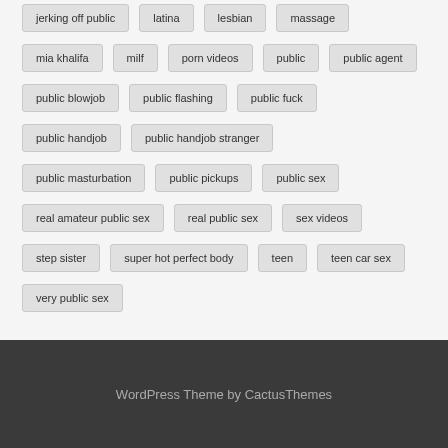jerking off public
latina
lesbian
massage
mia khalifa
milf
porn videos
public
public agent
public blowjob
public flashing
public fuck
public handjob
public handjob stranger
public masturbation
public pickups
public sex
real amateur public sex
real public sex
sex videos
step sister
super hot perfect body
teen
teen car sex
very public sex
WordPress Theme by CactusThemes